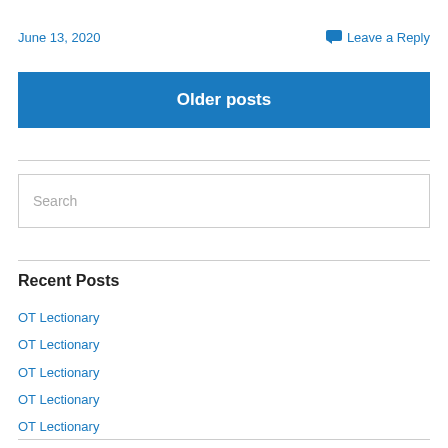June 13, 2020
Leave a Reply
Older posts
Search
Recent Posts
OT Lectionary
OT Lectionary
OT Lectionary
OT Lectionary
OT Lectionary